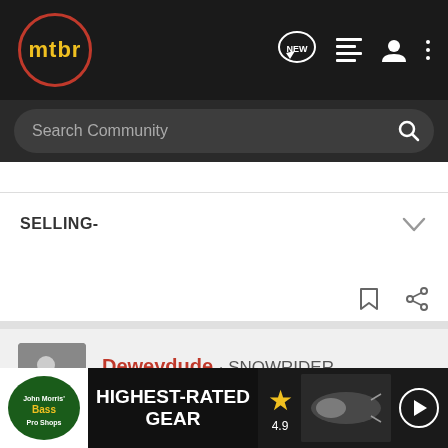[Figure (screenshot): mtbr community forum page header with navigation bar (logo, NEW chat icon, list icon, user icon, more icon), search bar, SELLING- section with chevron, bookmark and share action icons, user card for Deweydude (SNOWRIDER, Joined Mar 7, 2004, 1,564 Posts), post #6 dated Apr 12, 2005, partial post text, and Bass Pro Shops ad banner at bottom]
mtbr
Search Community
SELLING-
Deweydude · SNOWRIDER
Joined Mar 7, 2004 · 1,564 Posts
#6 · Apr 12, 2005
man I wish I could have said "budget not an issue" when I built my bike
I am ru happy